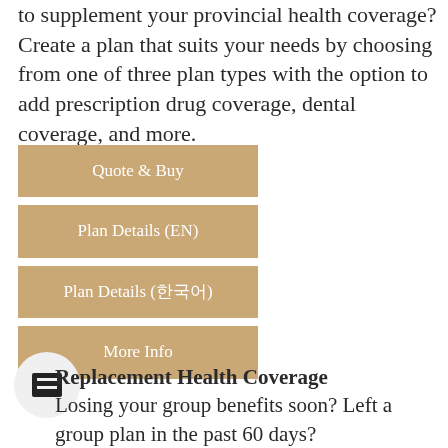to supplement your provincial health coverage? Create a plan that suits your needs by choosing from one of three plan types with the option to add prescription drug coverage, dental coverage, and more.
Quote & Buy
Plan Details (EN)
Plan Details (한국어)
More Info
Replacement Health Coverage
Losing your group benefits soon? Left a group plan in the past 60 days?